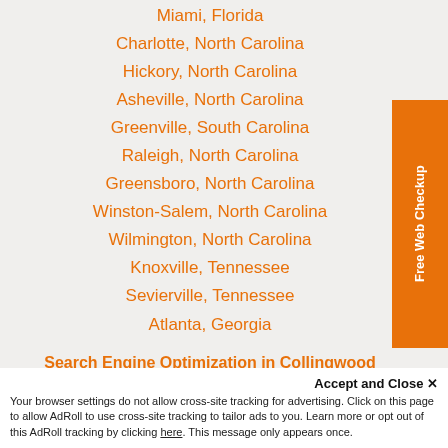Miami, Florida
Charlotte, North Carolina
Hickory, North Carolina
Asheville, North Carolina
Greenville, South Carolina
Raleigh, North Carolina
Greensboro, North Carolina
Winston-Salem, North Carolina
Wilmington, North Carolina
Knoxville, Tennessee
Sevierville, Tennessee
Atlanta, Georgia
Search Engine Optimization in Collingwood
SEO Copywriting Services in Collingwood
Web Design Services in Collingwood
Accept and Close ✕
Your browser settings do not allow cross-site tracking for advertising. Click on this page to allow AdRoll to use cross-site tracking to tailor ads to you. Learn more or opt out of this AdRoll tracking by clicking here. This message only appears once.